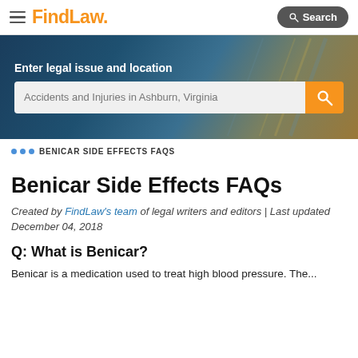FindLaw — Search
[Figure (screenshot): FindLaw website hero banner with search bar showing 'Accidents and Injuries in Ashburn, Virginia']
... BENICAR SIDE EFFECTS FAQS
Benicar Side Effects FAQs
Created by FindLaw's team of legal writers and editors | Last updated December 04, 2018
Q: What is Benicar?
Benicar is a medication used to treat high blood pressure. The...